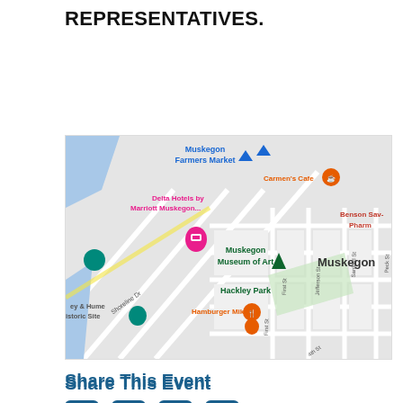REPRESENTATIVES.
[Figure (map): Google Maps screenshot showing downtown Muskegon, Michigan area with landmarks including Muskegon Farmers Market, Delta Hotels by Marriott Muskegon, Carmen's Cafe, Muskegon Museum of Art, Hackley Park, Hamburger Mikey, Benson Sav- Pharm, and streets including Shoreline Dr, First St, Jefferson St, Sanford St, Peck St, Terrace, 4th St, 5th Ave.]
Share This Event